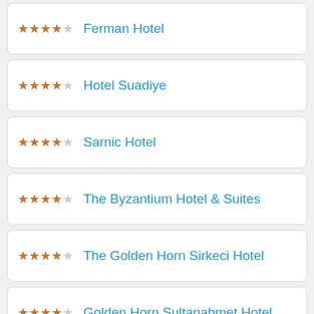Ferman Hotel, 4.5 stars
Hotel Suadiye, 4.5 stars
Sarnic Hotel, 4.5 stars
The Byzantium Hotel & Suites, 4.5 stars
The Golden Horn Sirkeci Hotel, 4.5 stars
Golden Horn Sultanahmet Hotel, 4.5 stars
Tan Hotel, 4.5 stars
Ersin Taxim Premier (partial)